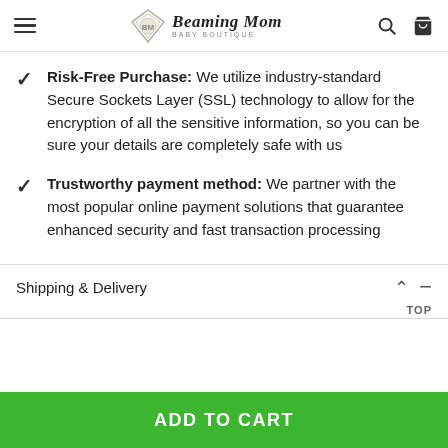Beaming Mom Baby Boutique
Risk-Free Purchase: We utilize industry-standard Secure Sockets Layer (SSL) technology to allow for the encryption of all the sensitive information, so you can be sure your details are completely safe with us
Trustworthy payment method: We partner with the most popular online payment solutions that guarantee enhanced security and fast transaction processing
Shipping & Delivery
ADD TO CART